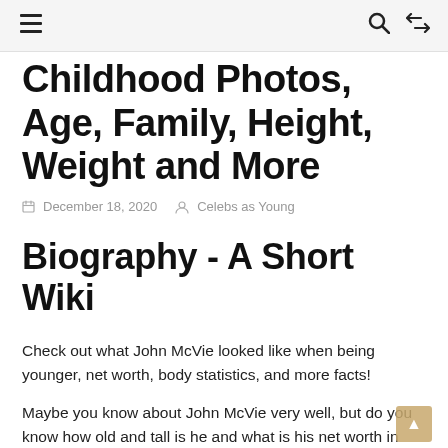≡  🔍  ⇄
Childhood Photos, Age, Family, Height, Weight and More
December 18, 2020   Celebs as Young
Biography - A Short Wiki
Check out what John McVie looked like when being younger, net worth, body statistics, and more facts!
Maybe you know about John McVie very well, but do you know how old and tall is he and what is his net worth in 2020? If you do not know, we have prepared this article about details of John McVie's short biography-wiki.